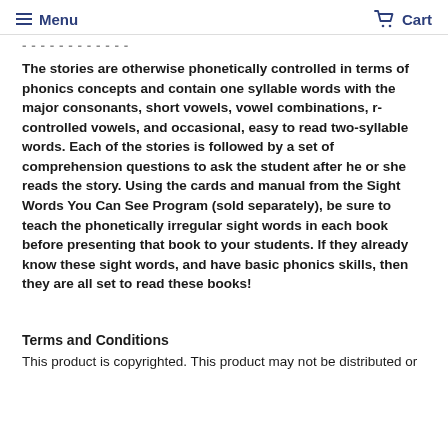Menu  Cart
The stories are otherwise phonetically controlled in terms of phonics concepts and contain one syllable words with the major consonants, short vowels, vowel combinations, r-controlled vowels, and occasional, easy to read two-syllable words. Each of the stories is followed by a set of comprehension questions to ask the student after he or she reads the story. Using the cards and manual from the Sight Words You Can See Program (sold separately), be sure to teach the phonetically irregular sight words in each book before presenting that book to your students. If they already know these sight words, and have basic phonics skills, then they are all set to read these books!
Terms and Conditions
This product is copyrighted. This product may not be distributed or